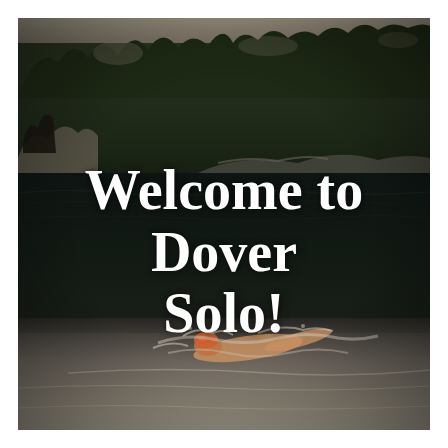[Figure (photo): A swimmer doing freestyle/crawl stroke in open water, with a dark lake or sea in the background, rocky shoreline and dense forest trees visible behind. The swimmer wears an orange cap. The photo has a vintage, slightly muted color tone.]
Welcome to Dover Solo!